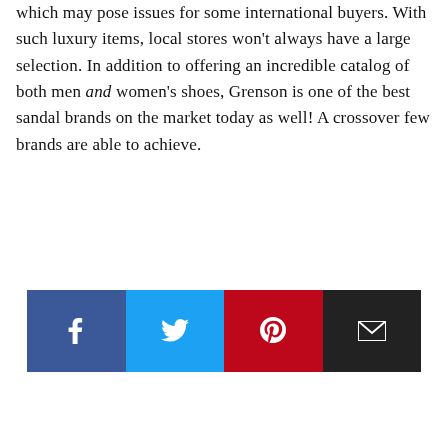which may pose issues for some international buyers. With such luxury items, local stores won't always have a large selection. In addition to offering an incredible catalog of both men and women's shoes, Grenson is one of the best sandal brands on the market today as well! A crossover few brands are able to achieve.
[Figure (infographic): Social sharing buttons: Facebook (dark blue), Twitter (light blue), Pinterest (red/dark red), Email (black). Each button has a white icon centered on a colored rectangle.]